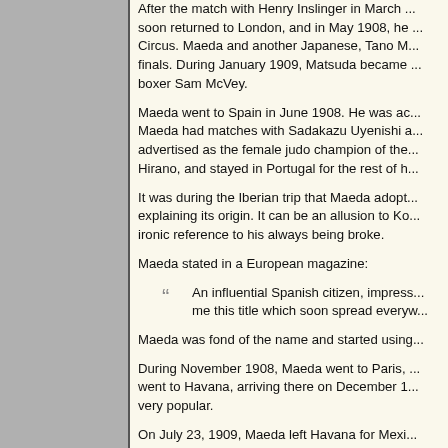After the match with Henry Inslinger in March ... soon returned to London, and in May 1908, he ... Circus. Maeda and another Japanese, Tano M... finals. During January 1909, Matsuda became ... boxer Sam McVey.
Maeda went to Spain in June 1908. He was ac... Maeda had matches with Sadakazu Uyenishi a... advertised as the female judo champion of the... Hirano, and stayed in Portugal for the rest of h...
It was during the Iberian trip that Maeda adopt... explaining its origin. It can be an allusion to Ko... ironic reference to his always being broke.
Maeda stated in a European magazine:
An influential Spanish citizen, impress... me this title which soon spread everyw...
Maeda was fond of the name and started using...
During November 1908, Maeda went to Paris, ... went to Havana, arriving there on December 1... very popular.
On July 23, 1909, Maeda left Havana for Mexi... Fabregas Theater on July 14, 1909. This show... afterwards, Maeda began appearing at the Pri... ...and about 500...